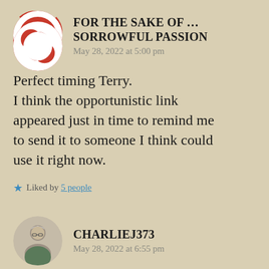[Figure (logo): Red and white life preserver ring avatar icon]
FOR THE SAKE OF ... SORROWFUL PASSION
May 28, 2022 at 5:00 pm
Perfect timing Terry.
I think the opportunistic link appeared just in time to remind me to send it to someone I think could use it right now.
Liked by 5 people
[Figure (photo): Photo of an older man with glasses and gray hair]
CHARLIEJ373
May 28, 2022 at 6:55 pm